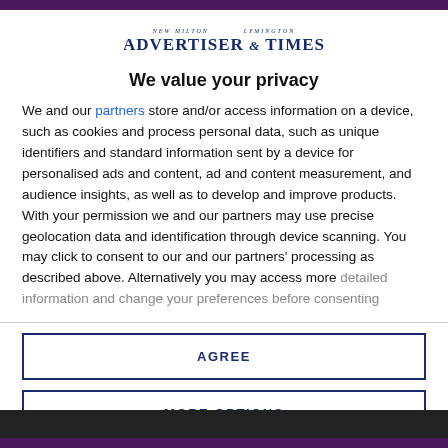New Milton Advertiser & Lymington Times
We value your privacy
We and our partners store and/or access information on a device, such as cookies and process personal data, such as unique identifiers and standard information sent by a device for personalised ads and content, ad and content measurement, and audience insights, as well as to develop and improve products. With your permission we and our partners may use precise geolocation data and identification through device scanning. You may click to consent to our and our partners' processing as described above. Alternatively you may access more detailed information and change your preferences before consenting
AGREE
MORE OPTIONS